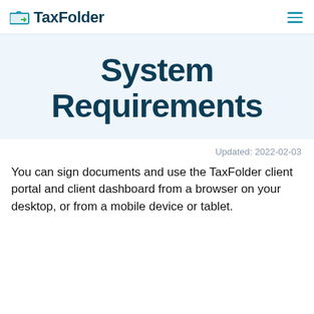TaxFolder
System Requirements
Updated: 2022-02-03
You can sign documents and use the TaxFolder client portal and client dashboard from a browser on your desktop, or from a mobile device or tablet.